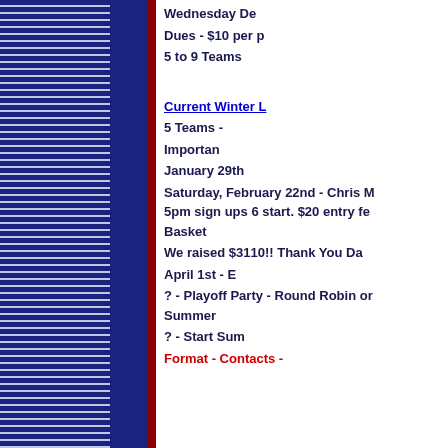Wednesday Do
Dues - $10 per p
5 to 9 Teams
Current Winter L
5 Teams -
Importan
January 29th
Saturday, February 22nd - Chris M 5pm sign ups 6 start. $20 entry fe Basket
We raised $3110!! Thank You Da
April 1st - E
? - Playoff Party - Round Robin or Summer
? - Start Sum
Format - Contacts -